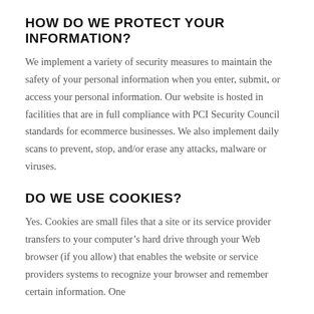HOW DO WE PROTECT YOUR INFORMATION?
We implement a variety of security measures to maintain the safety of your personal information when you enter, submit, or access your personal information. Our website is hosted in facilities that are in full compliance with PCI Security Council standards for ecommerce businesses. We also implement daily scans to prevent, stop, and/or erase any attacks, malware or viruses.
DO WE USE COOKIES?
Yes. Cookies are small files that a site or its service provider transfers to your computer’s hard drive through your Web browser (if you allow) that enables the website or service providers systems to recognize your browser and remember certain information. One